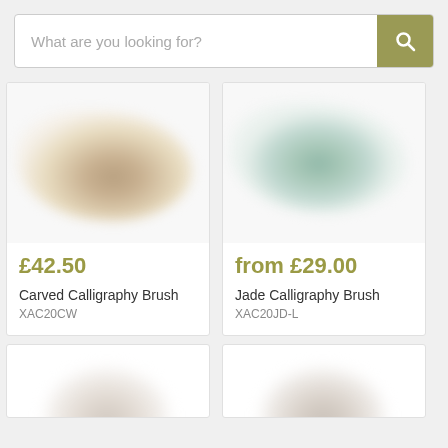[Figure (screenshot): Search bar with placeholder text 'What are you looking for?' and an olive/khaki search button with magnifying glass icon]
[Figure (photo): Blurred product photo of Carved Calligraphy Brush]
£42.50
Carved Calligraphy Brush
XAC20CW
[Figure (photo): Blurred product photo of Jade Calligraphy Brush]
from £29.00
Jade Calligraphy Brush
XAC20JD-L